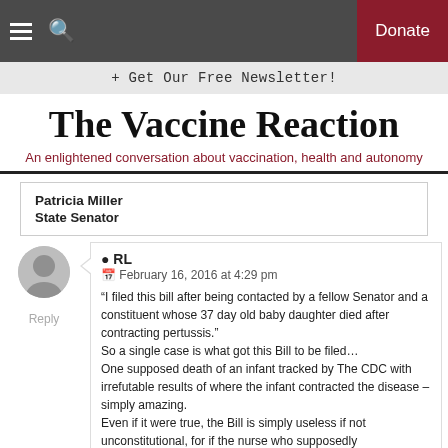The Vaccine Reaction — nav bar with Donate button
+ Get Our Free Newsletter!
The Vaccine Reaction
An enlightened conversation about vaccination, health and autonomy
Patricia Miller
State Senator
RL
February 16, 2016 at 4:29 pm

"I filed this bill after being contacted by a fellow Senator and a constituent whose 37 day old baby daughter died after contracting pertussis."
So a single case is what got this Bill to be filed…
One supposed death of an infant tracked by The CDC with irrefutable results of where the infant contracted the disease – simply amazing.
Even if it were true, the Bill is simply useless if not unconstitutional, for if the nurse who supposedly